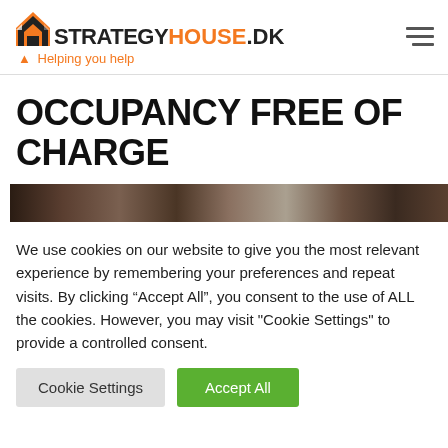StrategyHouse.DK — Helping you help
OCCUPANCY FREE OF CHARGE
[Figure (photo): Partial photo of people, cropped, dark tones, used as article header image]
We use cookies on our website to give you the most relevant experience by remembering your preferences and repeat visits. By clicking “Accept All”, you consent to the use of ALL the cookies. However, you may visit "Cookie Settings" to provide a controlled consent.
Cookie Settings | Accept All